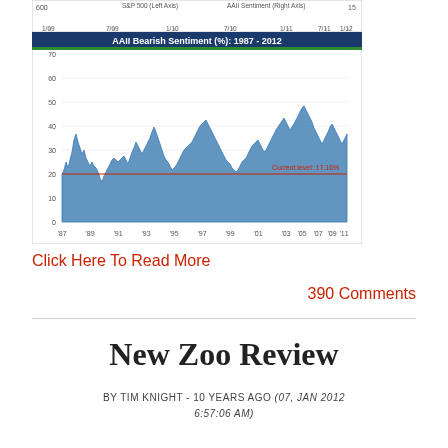[Figure (continuous-plot): Partial top chart showing S&P 500 and AAII Sentiment axes with x-axis dates from 1/09 to 1/12, y-axis left showing 600, y-axis right showing 15]
[Figure (continuous-plot): AAII Bearish Sentiment (%): 1987-2012 line chart with blue filled area showing sentiment fluctuating between roughly 10 and 70, with a red horizontal line at ~20 labeled 'Current level: 17.16%'. X-axis shows years from '87 to '11, y-axis from 0 to 70.]
Click Here To Read More
390 Comments
New Zoo Review
BY TIM KNIGHT - 10 YEARS AGO (07, JAN 2012 6:57:06 AM)